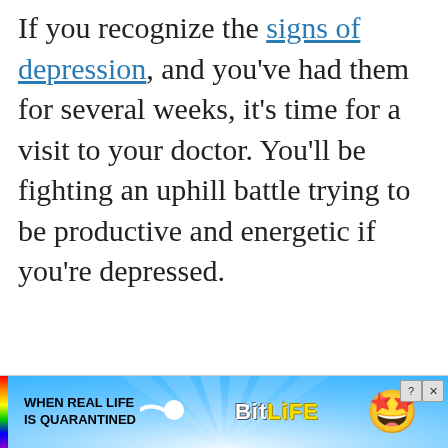If you recognize the signs of depression, and you've had them for several weeks, it's time for a visit to your doctor. You'll be fighting an uphill battle trying to be productive and energetic if you're depressed.
[Figure (other): Advertisement banner for BitLife mobile game. Shows colorful rainbow/light ray background with text 'WHEN REAL LIFE IS QUARANTINED' on the left, a sperm-shaped arrow icon in the middle, 'BitLife' logo in yellow, and an emoji character with star eyes wearing a mask on the right. Close and help buttons in top right corner.]